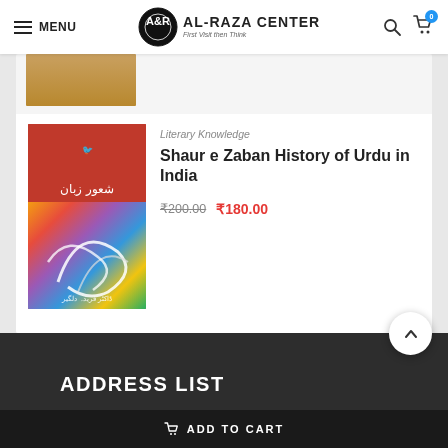MENU | AL-RAZA CENTER | First Visit then Think
[Figure (photo): Partial view of a book cover with golden/brown background at the top of the product listing]
Literary Knowledge
Shaur e Zaban History of Urdu in India
₹200.00  ₹180.00
[Figure (photo): Book cover of 'Shaur e Zaban History of Urdu in India' with red top section featuring Urdu script title and colorful calligraphic art on lower portion]
ADDRESS LIST
ADD TO CART